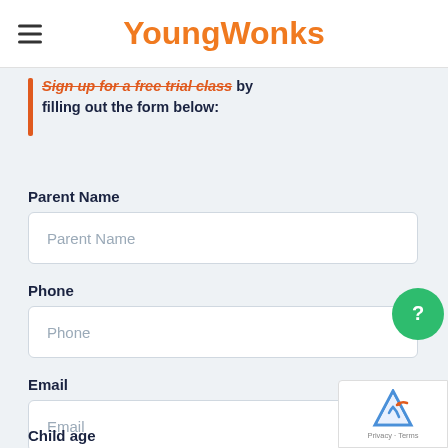YoungWonks
Sign up for a free trial class by filling out the form below:
Parent Name
Phone
Email
Child age